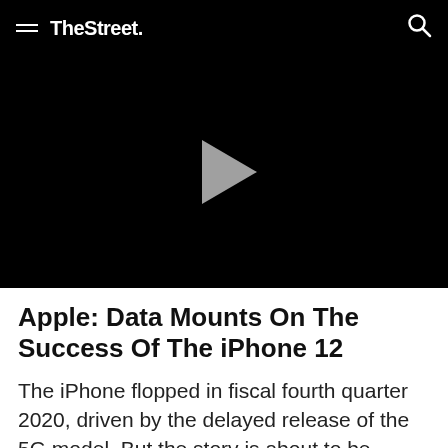TheStreet
[Figure (screenshot): Black video player with a gray play button triangle in the center]
Apple: Data Mounts On The Success Of The iPhone 12
The iPhone flopped in fiscal fourth quarter 2020, driven by the delayed release of the 5G model. But the story is about to be flipped on its head, as analysts report strong demand for the device in the holiday